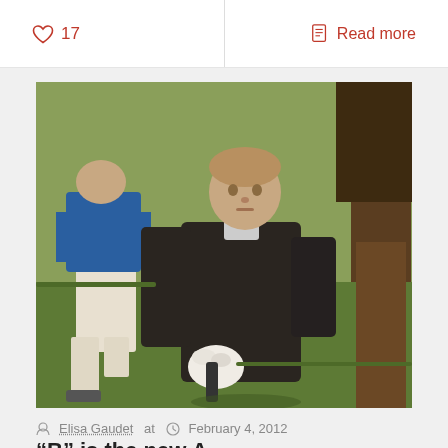17
Read more
[Figure (photo): A man in a dark long-sleeve shirt and white golf glove standing on a golf course green, with another person in white shorts and blue shirt walking past on the left, and a tree trunk visible on the right side. Green grass background.]
Elisa Gaudet at   February 4, 2012
“B” is the new A
Big theme, As. But this is more than that, this is...